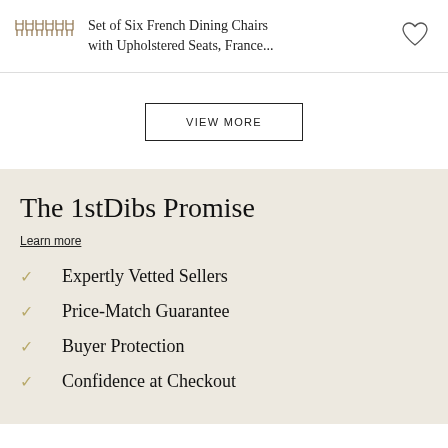[Figure (illustration): Small icon illustration of a set of dining chairs arranged in a row]
Set of Six French Dining Chairs with Upholstered Seats, France...
[Figure (illustration): Heart/favorite icon outline]
VIEW MORE
The 1stDibs Promise
Learn more
Expertly Vetted Sellers
Price-Match Guarantee
Buyer Protection
Confidence at Checkout